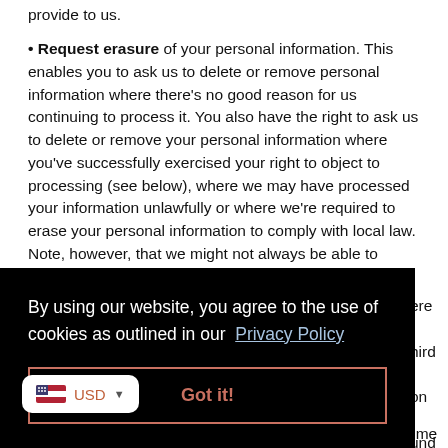provide to us.
• Request erasure of your personal information. This enables you to ask us to delete or remove personal information where there's no good reason for us continuing to process it. You also have the right to ask us to delete or remove your personal information where you've successfully exercised your right to object to processing (see below), where we may have processed your information unlawfully or where we're required to erase your personal information to comply with local law. Note, however, that we might not always be able to comply with your request for erasure because of specific legal reasons which will be notified to you, if applicable, at the time of your
[Figure (screenshot): Cookie consent overlay with black background, text 'By using our website, you agree to the use of cookies as outlined in our Privacy Policy', a 'Got it!' button with salmon/coral border, and a USD currency selector widget in bottom left.]
personal information for direct marketing purposes. In some